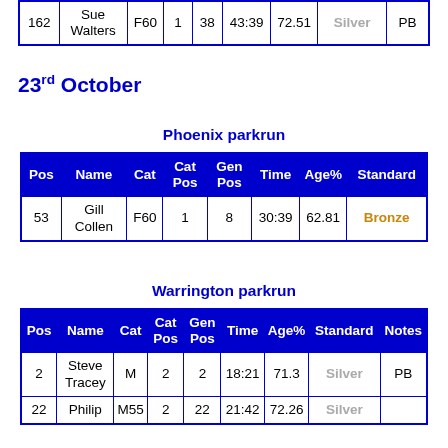| 162 | Sue Walters | F60 | 1 | 38 | 43:39 | 72.51 | Silver | PB |
23rd October
Phoenix parkrun
| Pos | Name | Cat | Cat Pos | Gen Pos | Time | Age% | Standard |
| --- | --- | --- | --- | --- | --- | --- | --- |
| 53 | Gill Collen | F60 | 1 | 8 | 30:39 | 62.81 | Bronze |
Warrington parkrun
| Pos | Name | Cat | Cat Pos | Gen Pos | Time | Age% | Standard | Notes |
| --- | --- | --- | --- | --- | --- | --- | --- | --- |
| 2 | Steve Tracey | M | 2 | 2 | 18:21 | 71.3 | Silver | PB |
| 22 | Philip | M55 | 2 | 22 | 21:42 | 72.26 | Silver |  |